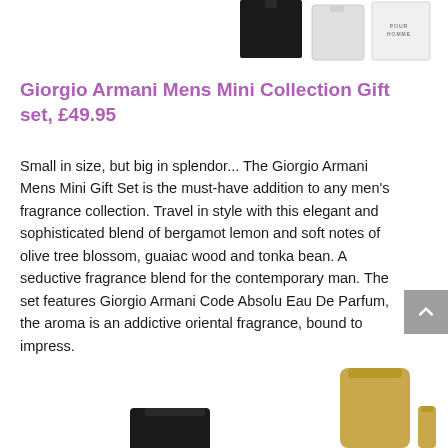[Figure (photo): Top portion of the page showing Giorgio Armani fragrance products — dark square bottle, silver bottle, and white Pour Homme box — cropped at the top.]
Giorgio Armani Mens Mini Collection Gift set, £49.95
Small in size, but big in splendor... The Giorgio Armani Mens Mini Gift Set is the must-have addition to any men's fragrance collection. Travel in style with this elegant and sophisticated blend of bergamot lemon and soft notes of olive tree blossom, guaiac wood and tonka bean. A seductive fragrance blend for the contemporary man. The set features Giorgio Armani Code Absolu Eau De Parfum, the aroma is an addictive oriental fragrance, bound to impress.
[Figure (photo): Bottom portion of the page showing another Giorgio Armani fragrance gift set — gold cylindrical bottle and small gold pen-style bottle, partially cropped.]